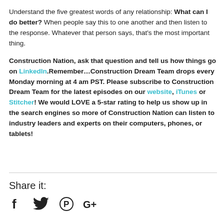Understand the five greatest words of any relationship: What can I do better? When people say this to one another and then listen to the response. Whatever that person says, that's the most important thing.
Construction Nation, ask that question and tell us how things go on LinkedIn. Remember…Construction Dream Team drops every Monday morning at 4 am PST. Please subscribe to Construction Dream Team for the latest episodes on our website, iTunes or Stitcher! We would LOVE a 5-star rating to help us show up in the search engines so more of Construction Nation can listen to industry leaders and experts on their computers, phones, or tablets!
Share it: